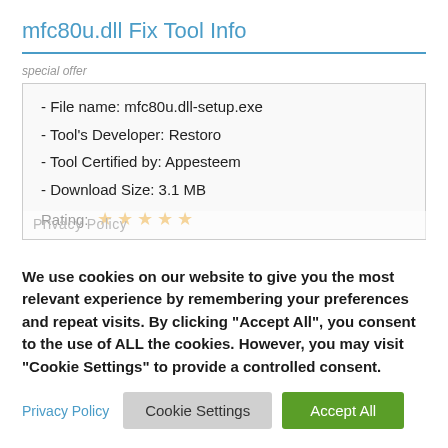mfc80u.dll Fix Tool Info
special offer
- File name: mfc80u.dll-setup.exe
- Tool's Developer: Restoro
- Tool Certified by: Appesteem
- Download Size: 3.1 MB
Rating: ★ ★ ★ ★ ★
We use cookies on our website to give you the most relevant experience by remembering your preferences and repeat visits. By clicking "Accept All", you consent to the use of ALL the cookies. However, you may visit "Cookie Settings" to provide a controlled consent.
Privacy Policy  Cookie Settings  Accept All